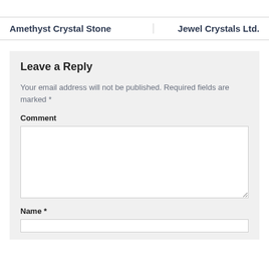Amethyst Crystal Stone    Jewel Crystals Ltd.
Leave a Reply
Your email address will not be published. Required fields are marked *
Comment
Name *